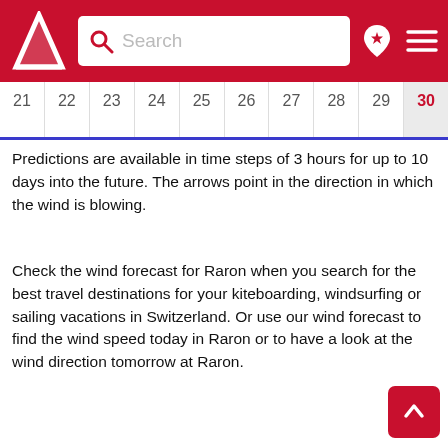Search [Windy app header with logo, search bar, location icon, menu icon]
| 21 | 22 | 23 | 24 | 25 | 26 | 27 | 28 | 29 | 30 |
| --- | --- | --- | --- | --- | --- | --- | --- | --- | --- |
|  |
Predictions are available in time steps of 3 hours for up to 10 days into the future. The arrows point in the direction in which the wind is blowing.
Check the wind forecast for Raron when you search for the best travel destinations for your kiteboarding, windsurfing or sailing vacations in Switzerland. Or use our wind forecast to find the wind speed today in Raron or to have a look at the wind direction tomorrow at Raron.
Units  We use knots and degrees Celsius as our default units. These units are often used by sailors, kiters, surfers, windsurfers and paragliders. Use website settings to switch between units and 7 different languages at any time. For converting between wind speed units such as knots, km/h (kilometers per hour), m/s (m per second), and mph (miles per hour) use our wind speed calculator